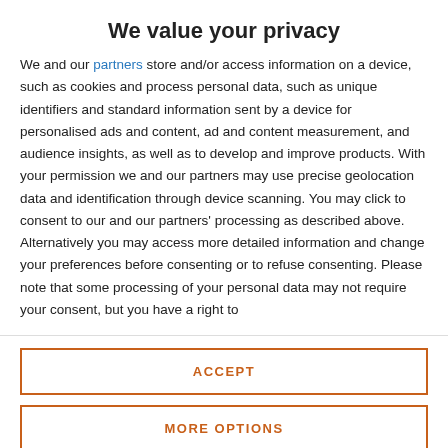We value your privacy
We and our partners store and/or access information on a device, such as cookies and process personal data, such as unique identifiers and standard information sent by a device for personalised ads and content, ad and content measurement, and audience insights, as well as to develop and improve products. With your permission we and our partners may use precise geolocation data and identification through device scanning. You may click to consent to our and our partners' processing as described above. Alternatively you may access more detailed information and change your preferences before consenting or to refuse consenting. Please note that some processing of your personal data may not require your consent, but you have a right to
ACCEPT
MORE OPTIONS
adding that Italy would petition the UK